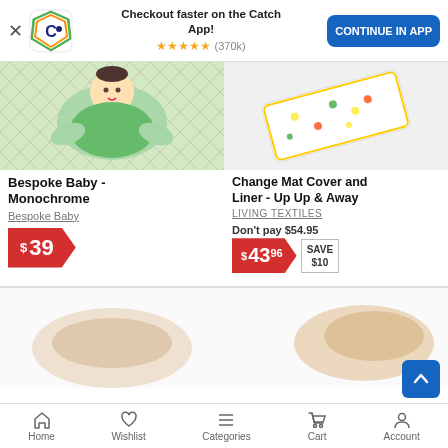[Figure (screenshot): Catch app banner with logo, 5-star rating (370k), 'Checkout faster on the Catch App!' text, and 'CONTINUE IN APP' blue button]
[Figure (photo): Baby lying on monochrome grid/diamond pattern fabric wearing green outfit]
Bespoke Baby - Monochrome
Bespoke Baby
$39
[Figure (photo): Change mat cover with up up and away / air balloon pattern on white background]
Change Mat Cover and Liner - Up Up & Away
LIVING TEXTILES
Don't pay $54.95
$43.96 SAVE $10
[Figure (illustration): Green free delivery truck icon with 'FREE' text]
Home   Wishlist   Categories   Cart   Account